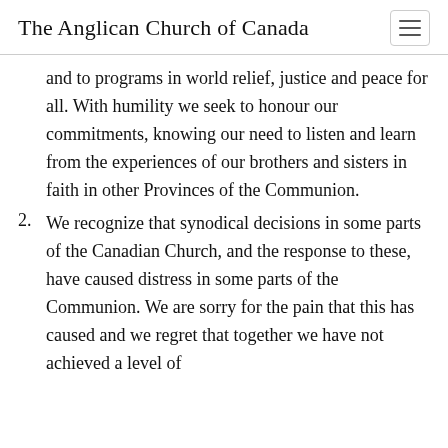The Anglican Church of Canada
and to programs in world relief, justice and peace for all. With humility we seek to honour our commitments, knowing our need to listen and learn from the experiences of our brothers and sisters in faith in other Provinces of the Communion.
2. We recognize that synodical decisions in some parts of the Canadian Church, and the response to these, have caused distress in some parts of the Communion. We are sorry for the pain that this has caused and we regret that together we have not achieved a level of